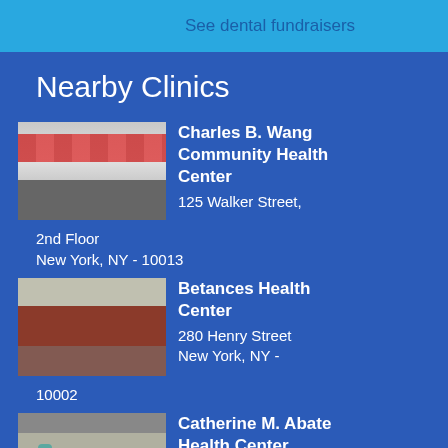See dental fundraisers
Nearby Clinics
[Figure (photo): Photo of Charles B. Wang Community Health Center building exterior with red awnings]
Charles B. Wang Community Health Center
125 Walker Street, 2nd Floor
New York, NY - 10013
[Figure (photo): Photo of Betances Health Center building exterior, red brick]
Betances Health Center
280 Henry Street
New York, NY - 10002
[Figure (photo): Photo of Catherine M. Abate Health Center building exterior]
Catherine M. Abate Health Center
150 Essex Street